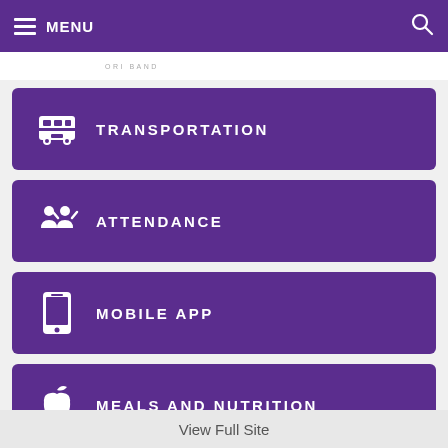MENU
TRANSPORTATION
ATTENDANCE
MOBILE APP
MEALS AND NUTRITION
View Full Site